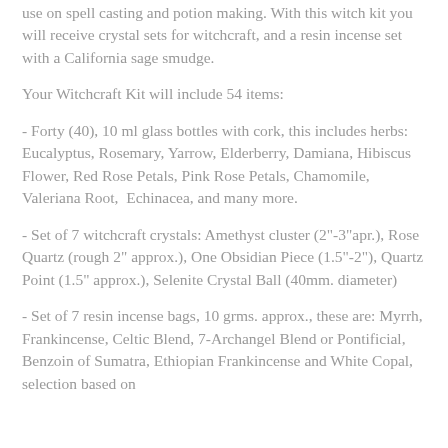use on spell casting and potion making.  With this witch kit you will receive crystal sets for witchcraft, and a resin incense set with a California sage smudge.
Your Witchcraft Kit will include 54 items:
- Forty (40), 10 ml glass bottles with cork, this includes herbs: Eucalyptus, Rosemary, Yarrow, Elderberry, Damiana, Hibiscus Flower, Red Rose Petals, Pink Rose Petals, Chamomile, Valeriana Root,  Echinacea, and many more.
- Set of 7 witchcraft crystals: Amethyst cluster (2"-3"apr.), Rose Quartz (rough 2" approx.), One Obsidian Piece (1.5"-2"), Quartz Point (1.5" approx.), Selenite Crystal Ball (40mm. diameter)
- Set of 7 resin incense bags, 10 grms. approx., these are: Myrrh, Frankincense, Celtic Blend, 7-Archangel Blend or Pontificial, Benzoin of Sumatra, Ethiopian Frankincense and White Copal, selection based on